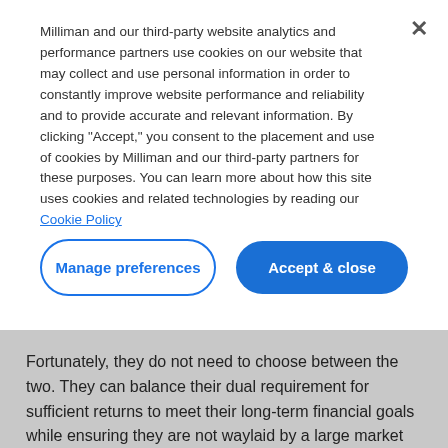Milliman and our third-party website analytics and performance partners use cookies on our website that may collect and use personal information in order to constantly improve website performance and reliability and to provide accurate and relevant information. By clicking "Accept," you consent to the placement and use of cookies by Milliman and our third-party partners for these purposes. You can learn more about how this site uses cookies and related technologies by reading our Cookie Policy
Manage preferences
Accept & close
Fortunately, they do not need to choose between the two. They can balance their dual requirement for sufficient returns to meet their long-term financial goals while ensuring they are not waylaid by a large market correction.